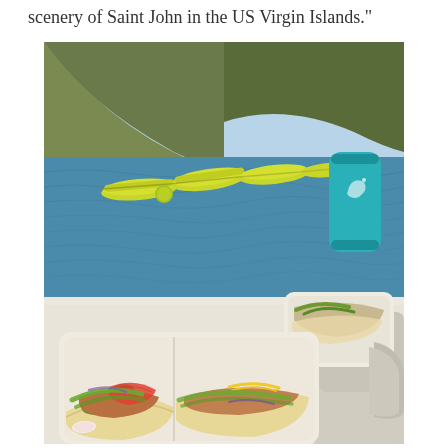scenery of Saint John in the US Virgin Islands.
[Figure (photo): Photo of fish tacos in compostable trays on a boat, with green floating water mats and blue ocean water in the background, and a teal tumbler cup visible on the right side.]